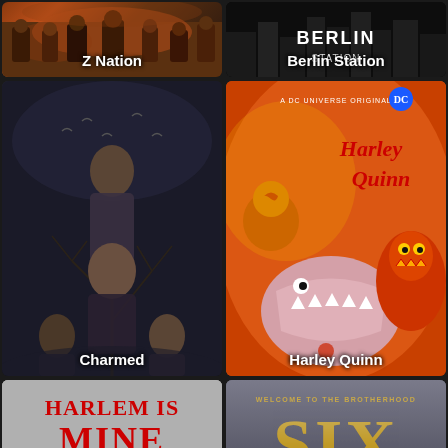[Figure (screenshot): TV show poster for Z Nation]
[Figure (screenshot): TV show poster for Berlin Station]
[Figure (screenshot): TV show poster for Charmed]
[Figure (screenshot): TV show poster for Harley Quinn - DC Universe Original animated series]
[Figure (screenshot): Movie poster for Harlem Is Mine featuring a man in a suit]
[Figure (screenshot): TV show poster for SIX - Welcome to the Brotherhood, Seal Team Six]